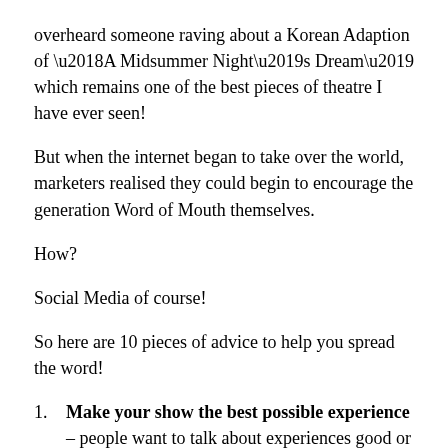overheard someone raving about a Korean Adaption of ‘A Midsummer Night’s Dream’ which remains one of the best pieces of theatre I have ever seen!
But when the internet began to take over the world, marketers realised they could begin to encourage the generation Word of Mouth themselves.
How?
Social Media of course!
So here are 10 pieces of advice to help you spread the word!
1. Make your show the best possible experience – people want to talk about experiences good or bad.  Obviously, we’re looking to spread the positive but remember: no publicity is bad